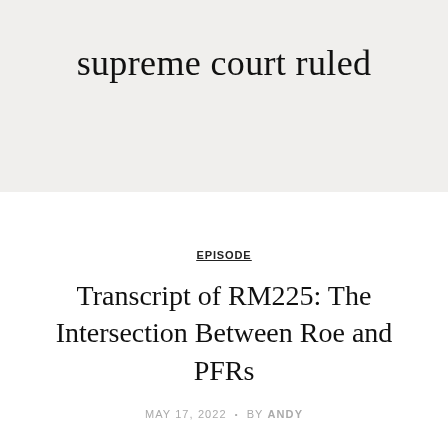supreme court ruled
EPISODE
Transcript of RM225: The Intersection Between Roe and PFRs
MAY 17, 2022 • BY ANDY